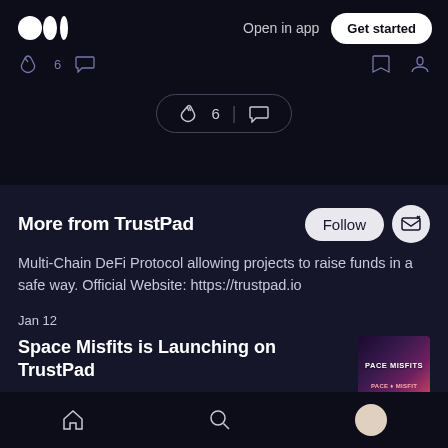[Figure (screenshot): Medium app UI screenshot showing top navigation with Medium logo, 'Open in app' text and 'Get started' button; icon row with clap/comment/bookmark/follow icons; clap pill showing '👏 6 | 💬'; 'More from TrustPad' section with Follow button and subscribe icon; description text; article listing for 'Space Misfits is Launching on TrustPad' with thumbnail; bottom navigation bar]
Open in app  Get started
More from TrustPad
Multi-Chain DeFi Protocol allowing projects to raise funds in a safe way. Official Website: https://trustpad.io
Jan 12
Space Misfits is Launching on TrustPad
4 min read